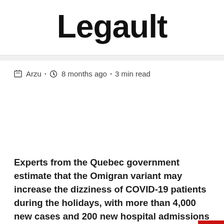Legault
Arzu · 8 months ago · 3 min read
Experts from the Quebec government estimate that the Omigran variant may increase the dizziness of COVID-19 patients during the holidays, with more than 4,000 new cases and 200 new hospital admissions each day.